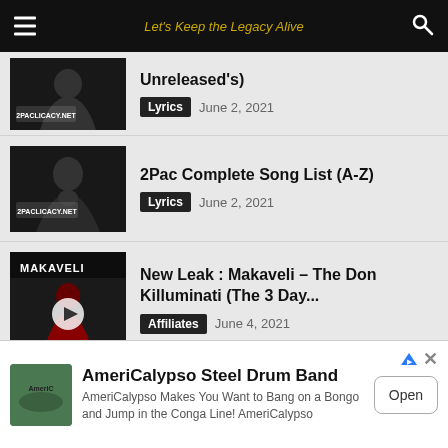Let's Keep the Legacy Alive
Unreleased's) | Lyrics | June 2, 2021
2Pac Complete Song List (A-Z) | Lyrics | June 2, 2021
New Leak : Makaveli – The Don Killuminati (The 3 Day... | Affiliates | June 4, 2021
Tupac's Samples List
AmeriCalypso Steel Drum Band — AmeriCalypso Makes You Want to Bang on a Bongo and Jump in the Conga Line! AmeriCalypso | Open